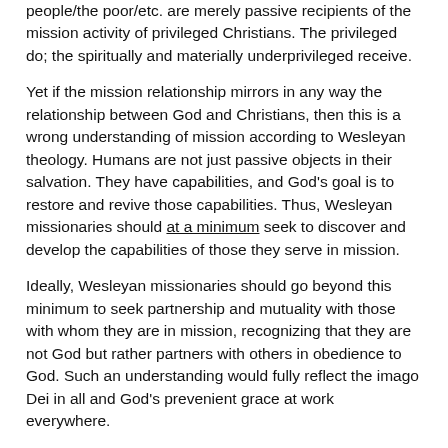people/the poor/etc. are merely passive recipients of the mission activity of privileged Christians. The privileged do; the spiritually and materially underprivileged receive.
Yet if the mission relationship mirrors in any way the relationship between God and Christians, then this is a wrong understanding of mission according to Wesleyan theology. Humans are not just passive objects in their salvation. They have capabilities, and God's goal is to restore and revive those capabilities. Thus, Wesleyan missionaries should at a minimum seek to discover and develop the capabilities of those they serve in mission.
Ideally, Wesleyan missionaries should go beyond this minimum to seek partnership and mutuality with those with whom they are in mission, recognizing that they are not God but rather partners with others in obedience to God. Such an understanding would fully reflect the imago Dei in all and God's prevenient grace at work everywhere.
Nevertheless, a more fundamental case can be made that any form of missiology that does not recognize the agency of